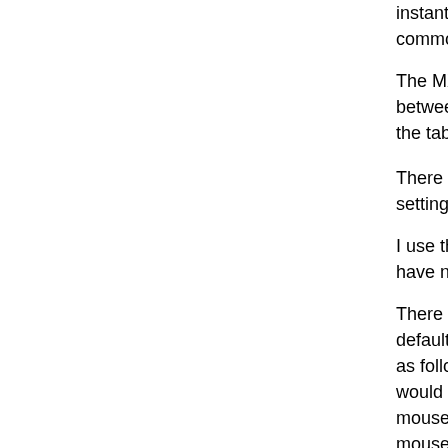instantly and after maybe half an hour of use I a common use.
The MX Ergo has a regular mouse-style 2 butto between. I feels so much like a mouse that you the table at first ;), but the solid plate will remem
There are two settings for the MX Ergo, either fl setting more comfortable. The trackballs then la
I use the included Logitech Unifying receiver wh have not tried using Bluetooth yet, but I may in
There are two extra buttons (button 8 and 9) ne default do browser history forward/backward. I as follows: the top button is assigned to my win would require a keyboard shortcut else), while t mouse click: I find it more comfortable than clicl mouse button heavily. Having a physical middle perfect (e.g. like the Lenovo ScrollPoint mouse)
Remapping the mouse button can be done with
Now for the downsides: in my opinion, the scrol ratchets and no high-definition mode (at least, n